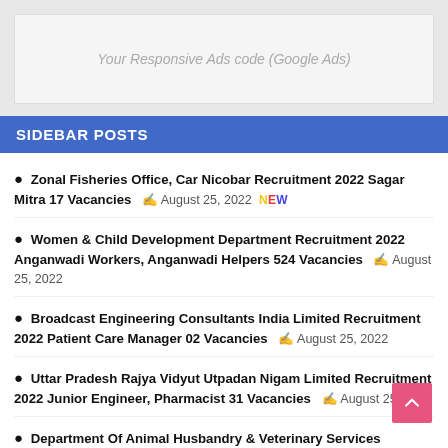[Figure (other): Responsive Ads placeholder box with italic gray text: Your Responsive Ads code (Google Ads)]
SIDEBAR POSTS
Zonal Fisheries Office, Car Nicobar Recruitment 2022 Sagar Mitra 17 Vacancies  August 25, 2022 NEW
Women & Child Development Department Recruitment 2022 Anganwadi Workers, Anganwadi Helpers 524 Vacancies  August 25, 2022
Broadcast Engineering Consultants India Limited Recruitment 2022 Patient Care Manager 02 Vacancies  August 25, 2022
Uttar Pradesh Rajya Vidyut Utpadan Nigam Limited Recruitment 2022 Junior Engineer, Pharmacist 31 Vacancies  August 25, 2022
Department Of Animal Husbandry & Veterinary Services...